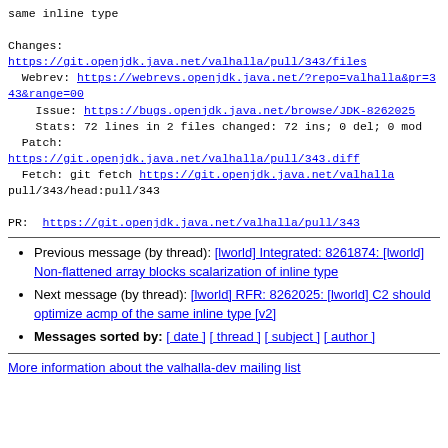same inline type

Changes:
https://git.openjdk.java.net/valhalla/pull/343/files
  Webrev: https://webrevs.openjdk.java.net/?repo=valhalla&pr=343&range=00
    Issue: https://bugs.openjdk.java.net/browse/JDK-8262025
    Stats: 72 lines in 2 files changed: 72 ins; 0 del; 0 mod
  Patch:
https://git.openjdk.java.net/valhalla/pull/343.diff
  Fetch: git fetch https://git.openjdk.java.net/valhalla pull/343/head:pull/343

PR:  https://git.openjdk.java.net/valhalla/pull/343
Previous message (by thread): [lworld] Integrated: 8261874: [lworld] Non-flattened array blocks scalarization of inline type
Next message (by thread): [lworld] RFR: 8262025: [lworld] C2 should optimize acmp of the same inline type [v2]
Messages sorted by: [ date ] [ thread ] [ subject ] [ author ]
More information about the valhalla-dev mailing list